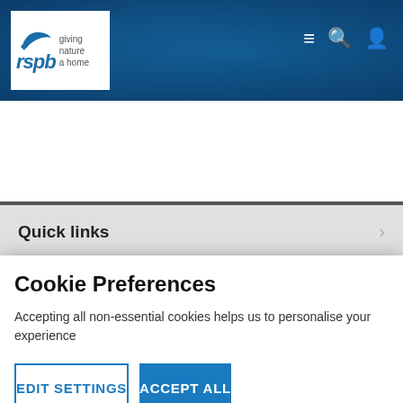[Figure (screenshot): RSPB website header with logo showing bird silhouette, 'rspb' text, 'giving nature a home' tagline, and navigation icons (menu, search, person) on a blue textured background]
We spend 90% of net income on conservation, public education and advocacy
Quick links
Information for
Cookie Preferences
Accepting all non-essential cookies helps us to personalise your experience
EDIT SETTINGS
ACCEPT ALL